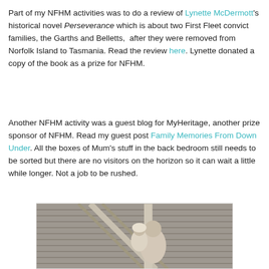Part of my NFHM activities was to do a review of Lynette McDermott's historical novel Perseverance which is about two First Fleet convict families, the Garths and Belletts,  after they were removed from Norfolk Island to Tasmania. Read the review here. Lynette donated a copy of the book as a prize for NFHM.
Another NFHM activity was a guest blog for MyHeritage, another prize sponsor of NFHM. Read my guest post Family Memories From Down Under. All the boxes of Mum's stuff in the back bedroom still needs to be sorted but there are no visitors on the horizon so it can wait a little while longer. Not a job to be rushed.
[Figure (photo): Black and white photograph of a woman holding a baby, standing near wooden stairs or railings of a building.]